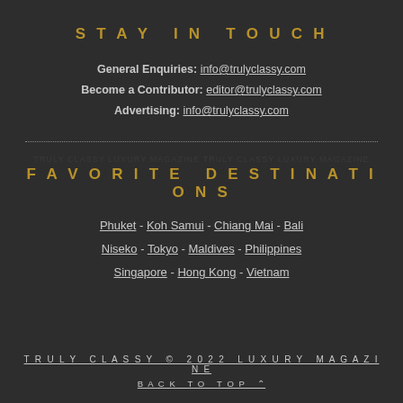STAY IN TOUCH
General Enquiries: info@trulyclassy.com
Become a Contributor: editor@trulyclassy.com
Advertising: info@trulyclassy.com
FAVORITE DESTINATIONS
Phuket - Koh Samui - Chiang Mai - Bali
Niseko - Tokyo - Maldives - Philippines
Singapore - Hong Kong - Vietnam
TRULY CLASSY © 2022 LUXURY MAGAZINE
BACK TO TOP ∧